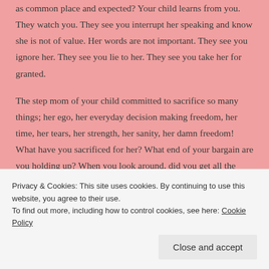as common place and expected? Your child learns from you. They watch you. They see you interrupt her speaking and know she is not of value. Her words are not important. They see you ignore her. They see you lie to her. They see you take her for granted.
The step mom of your child committed to sacrifice so many things; her ego, her everyday decision making freedom, her time, her tears, her strength, her sanity, her damn freedom! What have you sacrificed for her? What end of your bargain are you holding up? When you look around, did you get all the benefits of having a child, but none of the responsibility?
Privacy & Cookies: This site uses cookies. By continuing to use this website, you agree to their use. To find out more, including how to control cookies, see here: Cookie Policy
Close and accept